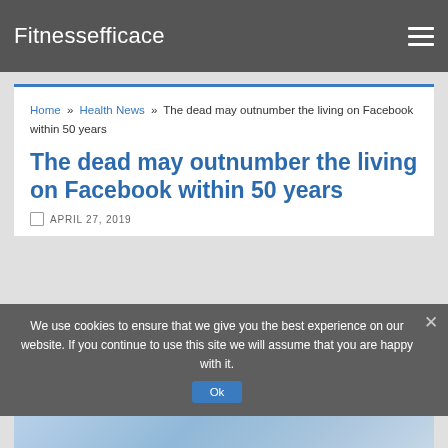Fitnessefficace
Home » Health News » The dead may outnumber the living on Facebook within 50 years
The dead may outnumber the living on Facebook within 50 years
APRIL 27, 2019
We use cookies to ensure that we give you the best experience on our website. If you continue to use this site we will assume that you are happy with it.